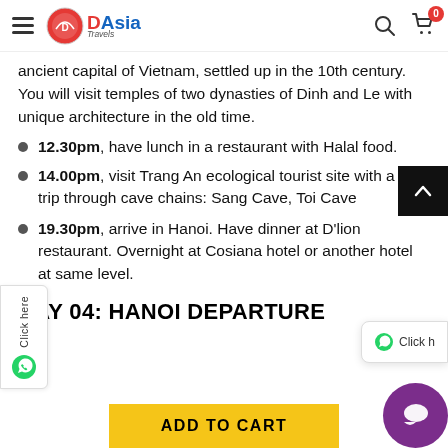DAsia Travels
ancient capital of Vietnam, settled up in the 10th century. You will visit temples of two dynasties of Dinh and Le with unique architecture in the old time.
12.30pm, have lunch in a restaurant with Halal food.
14.00pm, visit Trang An ecological tourist site with a boat trip through cave chains: Sang Cave, Toi Cave
19.30pm, arrive in Hanoi. Have dinner at D'lion restaurant. Overnight at Cosiana hotel or another hotel at same level.
DAY 04: HANOI DEPARTURE
ADD TO CART